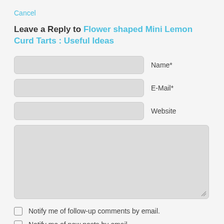Cancel
Leave a Reply to Flower shaped Mini Lemon Curd Tarts : Useful Ideas
[Figure (screenshot): Web form with three text input fields labeled Name*, E-Mail*, and Website, followed by a large textarea with a resize handle in the bottom right corner.]
Notify me of follow-up comments by email.
Notify me of new posts by email.